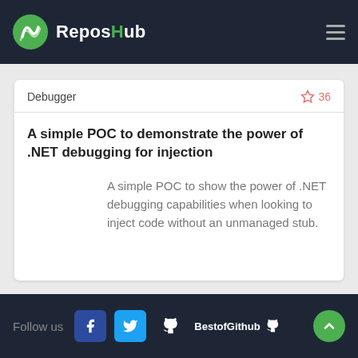ReposHub
Debugger
36
A simple POC to demonstrate the power of .NET debugging for injection
A simple POC to show the power of .NET debugging capabilities when looking to inject code without an unmanaged stub.
Follow us  BestofGithub